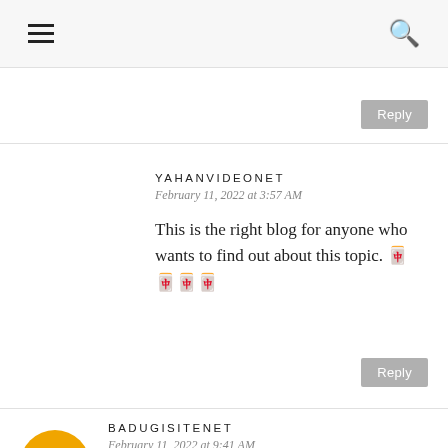menu | search
Reply
YAHANVIDEONET
February 11, 2022 at 3:57 AM
This is the right blog for anyone who wants to find out about this topic. 🀄🀄🀄🀄
Reply
BADUGISITENET
February 11, 2022 at 9:41 AM
I have got much clear idea